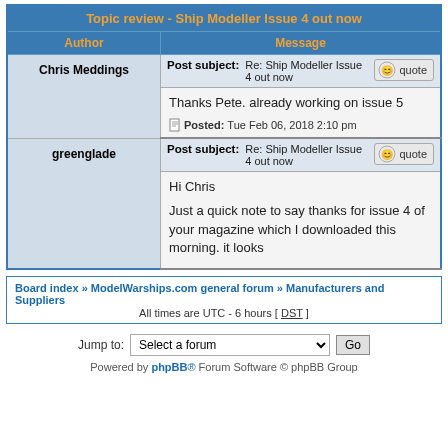| Author | Message |
| --- | --- |
| Chris Meddings | Post subject: Re: Ship Modeller Issue 4 out now [quote] | Thanks Pete. already working on issue 5 | Posted: Tue Feb 06, 2018 2:10 pm |
| greenglade | Post subject: Re: Ship Modeller Issue 4 out now [quote] | Hi Chris

Just a quick note to say thanks for issue 4 of your magazine which I downloaded this morning. it looks |
Board index » ModelWarships.com general forum » Manufacturers and Suppliers
All times are UTC - 6 hours [ DST ]
Jump to: Select a forum  Go
Powered by phpBB® Forum Software © phpBB Group